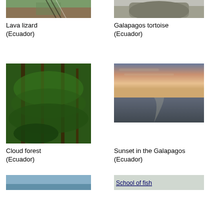[Figure (photo): Lava lizard photo, cropped top portion visible]
[Figure (photo): Galapagos tortoise photo, cropped top portion visible]
Lava lizard
(Ecuador)
Galapagos tortoise
(Ecuador)
[Figure (photo): Cloud forest Ecuador photo]
[Figure (photo): Sunset in the Galapagos photo]
Cloud forest
(Ecuador)
Sunset in the Galapagos
(Ecuador)
[Figure (photo): Partial photo at bottom left]
[Figure (photo): School of fish partial photo at bottom right]